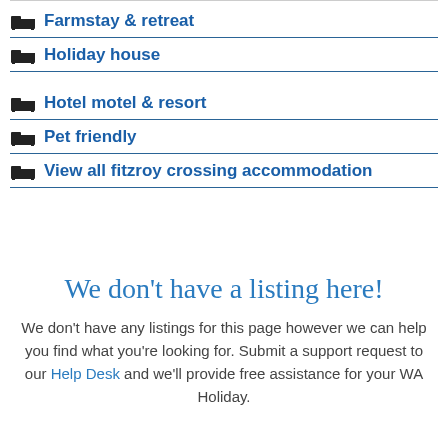Farmstay & retreat
Holiday house
Hotel motel & resort
Pet friendly
View all fitzroy crossing accommodation
We don't have a listing here!
We don't have any listings for this page however we can help you find what you're looking for. Submit a support request to our Help Desk and we'll provide free assistance for your WA Holiday.